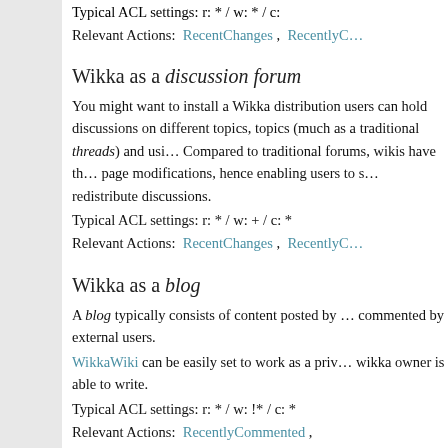Typical ACL settings: r: * / w: * / c:
Relevant Actions: RecentChanges , RecentlyC…
Wikka as a discussion forum
You might want to install a Wikka distribution users can hold discussions on different topics, topics (much as a traditional threads) and usi… Compared to traditional forums, wikis have th… page modifications, hence enabling users to s… redistribute discussions.
Typical ACL settings: r: * / w: + / c: *
Relevant Actions: RecentChanges , RecentlyC…
Wikka as a blog
A blog typically consists of content posted by … commented by external users.
WikkaWiki can be easily set to work as a priv… wikka owner is able to write.
Typical ACL settings: r: * / w: !* / c: *
Relevant Actions: RecentlyCommented ,